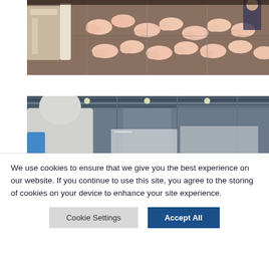[Figure (photo): Aerial view of pig farming facility with many piglets in pens with metal grating floors and feeding equipment]
[Figure (photo): Workers in protective gear including white coats and blue hard hats inside an industrial food processing facility]
We use cookies to ensure that we give you the best experience on our website. If you continue to use this site, you agree to the storing of cookies on your device to enhance your site experience.
Cookie Settings
Accept All